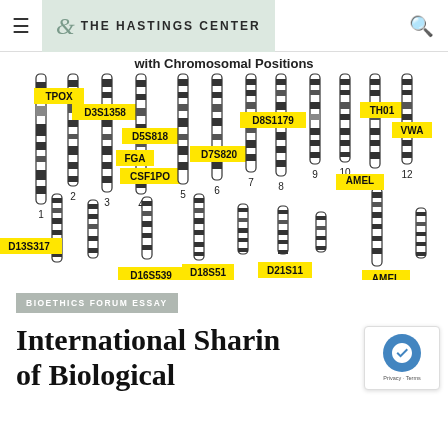THE HASTINGS CENTER
[Figure (illustration): Chromosomal diagram showing CODIS STR loci with chromosomal positions. Upper row shows chromosomes 1-12 with labeled loci: TPOX (chr2), D3S1358 (chr3), D5S818 (chr5), FGA (chr4), CSF1PO (chr5), D7S820 (chr7), D8S1179 (chr8), TH01 (chr11), VWA (chr12). Lower row shows additional chromosomes with: D13S317, D16S539, D18S51, D21S11, AMEL (two positions). Title partially visible: 'with Chromosomal Positions']
BIOETHICS FORUM ESSAY
International Sharing of Biological